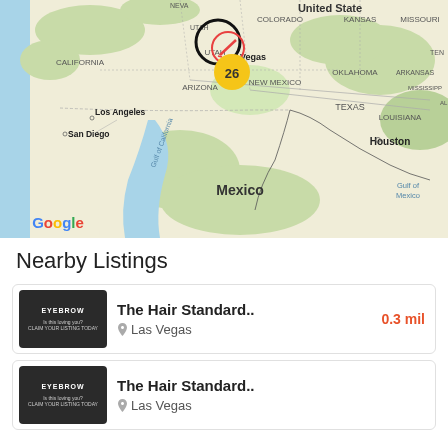[Figure (map): Google Maps view centered on southwestern United States (Las Vegas area) with a map pin marker and cluster badge showing '26'. Visible labels include: United States, Nevada, Utah, Colorado, Kansas, Missouri, California, Arizona, New Mexico, Oklahoma, Tennessee, Arkansas, Mississippi, Alabama, Texas, Louisiana, Mexico, Gulf of California, Gulf of Mexico, Los Angeles, San Diego, Houston. Google logo in lower left.]
Nearby Listings
[Figure (screenshot): Listing card thumbnail for 'The Hair Standard..' showing a dark background with EYEBROW logo text and promotional text]
The Hair Standard.. Las Vegas 0.3 mil
[Figure (screenshot): Listing card thumbnail for second 'The Hair Standard..' entry showing same dark background with EYEBROW logo]
The Hair Standard.. Las Vegas